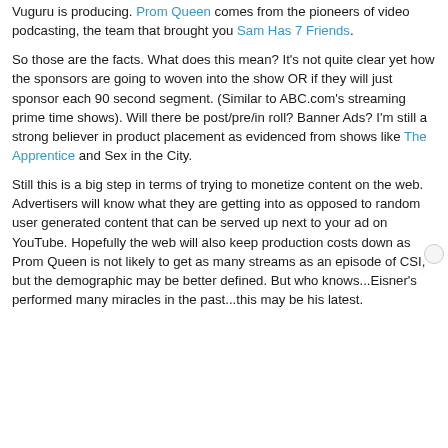Vuguru is producing. Prom Queen comes from the pioneers of video podcasting, the team that brought you Sam Has 7 Friends.
So those are the facts. What does this mean? It's not quite clear yet how the sponsors are going to woven into the show OR if they will just sponsor each 90 second segment. (Similar to ABC.com's streaming prime time shows). Will there be post/pre/in roll? Banner Ads? I'm still a strong believer in product placement as evidenced from shows like The Apprentice and Sex in the City.
Still this is a big step in terms of trying to monetize content on the web. Advertisers will know what they are getting into as opposed to random user generated content that can be served up next to your ad on YouTube. Hopefully the web will also keep production costs down as Prom Queen is not likely to get as many streams as an episode of CSI, but the demographic may be better defined. But who knows...Eisner's performed many miracles in the past...this may be his latest.